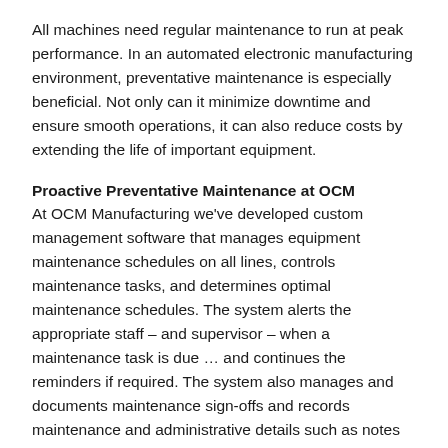All machines need regular maintenance to run at peak performance. In an automated electronic manufacturing environment, preventative maintenance is especially beneficial. Not only can it minimize downtime and ensure smooth operations, it can also reduce costs by extending the life of important equipment.
Proactive Preventative Maintenance at OCM
At OCM Manufacturing we've developed custom management software that manages equipment maintenance schedules on all lines, controls maintenance tasks, and determines optimal maintenance schedules. The system alerts the appropriate staff – and supervisor – when a maintenance task is due … and continues the reminders if required. The system also manages and documents maintenance sign-offs and records maintenance and administrative details such as notes and signoffs for each activity. This information is stored virtually for easy retrieval and to support our paperless organization and processes.